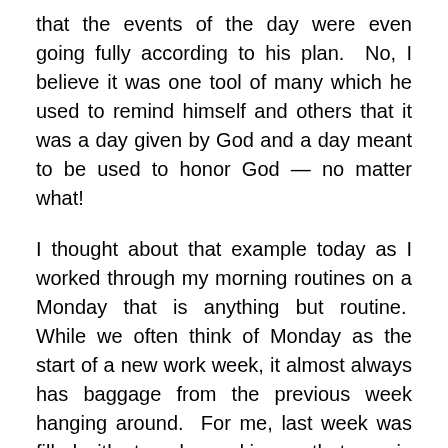that the events of the day were even going fully according to his plan.  No, I believe it was one tool of many which he used to remind himself and others that it was a day given by God and a day meant to be used to honor God — no matter what!

I thought about that example today as I worked through my morning routines on a Monday that is anything but routine.  While we often think of Monday as the start of a new work week, it almost always has baggage from the previous week hanging around.  For me, last week was filled with struggles and issues that remain unresolved but aren't really within my ability or responsibility to resolve.  Nonetheless, they weigh on me and can have a tendency to fill my mind to the point of distraction and even discouragement if I let them.  With last week's burdens still hanging over me, I woke up to fresh snow that I wasn't